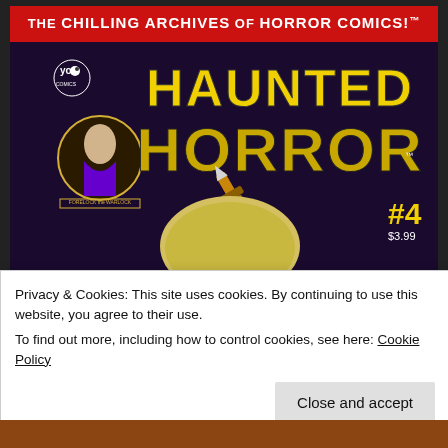[Figure (illustration): Comic book cover: 'The Chilling Archives of Horror Comics! Haunted Horror #4 $3.99' — IDW/Yoe Comics. Black background with dripping red/blood text at top, large yellow and purple 'HAUNTED HORROR' title, circular inset of an old warlock character labeled 'FORELOCK the WARLOCK', a dagger stabbing into a round object, #4 and price in lower right.]
Privacy & Cookies: This site uses cookies. By continuing to use this website, you agree to their use.
To find out more, including how to control cookies, see here: Cookie Policy
Close and accept